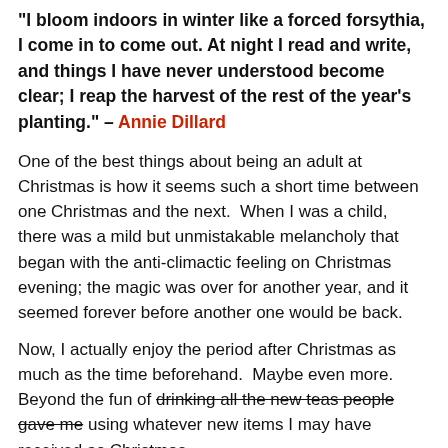"I bloom indoors in winter like a forced forsythia, I come in to come out. At night I read and write, and things I have never understood become clear; I reap the harvest of the rest of the year's planting." – Annie Dillard
One of the best things about being an adult at Christmas is how it seems such a short time between one Christmas and the next.  When I was a child, there was a mild but unmistakable melancholy that began with the anti-climactic feeling on Christmas evening; the magic was over for another year, and it seemed forever before another one would be back.
Now, I actually enjoy the period after Christmas as much as the time beforehand.  Maybe even more.  Beyond the fun of drinking all the new teas people gave me using whatever new items I may have received as Christmas